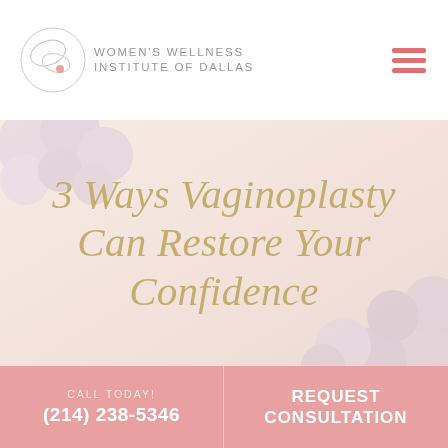WOMEN'S WELLNESS INSTITUTE OF DALLAS
[Figure (logo): Women's Wellness Institute of Dallas logo with circular swirl graphic]
[Figure (photo): Soft pink/cream background with blurred flowers (hydrangeas) in top-left and bottom-right corners]
3 Ways Vaginoplasty Can Restore Your Confidence
CALL TODAY!
(214) 238-5346
REQUEST CONSULTATION